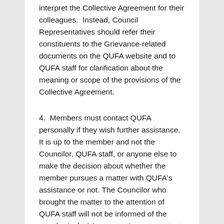interpret the Collective Agreement for their colleagues.  Instead, Council Representatives should refer their constituents to the Grievance-related documents on the QUFA website and to QUFA staff for clarification about the meaning or scope of the provisions of the Collective Agreement.
4.  Members must contact QUFA personally if they wish further assistance.  It is up to the member and not the Councilor, QUFA staff, or anyone else to make the decision about whether the member pursues a matter with QUFA's assistance or not. The Councilor who brought the matter to the attention of QUFA staff will not be informed of the member's decisions or actions as contact by the member moves the matter into the realm of confidential proceedings.